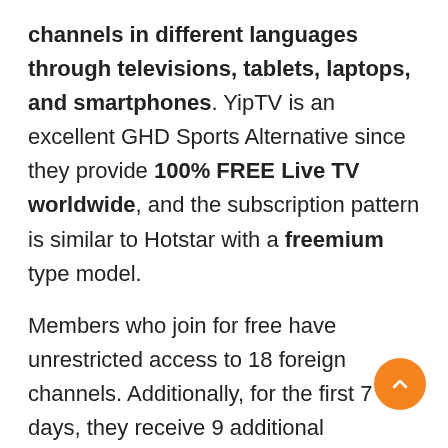channels in different languages through televisions, tablets, laptops, and smartphones. YipTV is an excellent GHD Sports Alternative since they provide 100% FREE Live TV worldwide, and the subscription pattern is similar to Hotstar with a freemium type model.
Members who join for free have unrestricted access to 18 foreign channels. Additionally, for the first 7 days, they receive 9 additional complimentary channels. All of this is possible without the need for a credit card. If needed, they may purchase the Premium Membership for just $14.99/month and access all 90+ channels with no pressurization for the renewal of services.